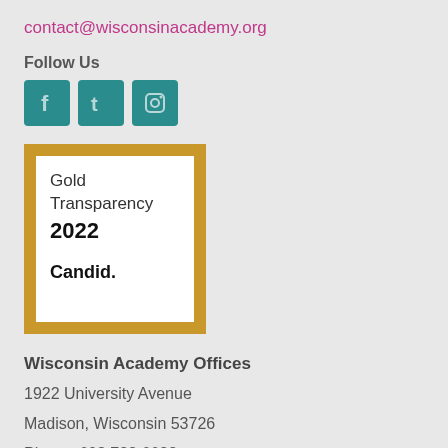contact@wisconsinacademy.org
Follow Us
[Figure (illustration): Three social media icons: Facebook (f), Twitter (t bird icon), and Instagram (camera icon), each in teal/dark cyan square buttons]
[Figure (logo): Gold Transparency 2022 Candid. badge — gold border square containing white background with text: Gold Transparency 2022 and Candid.]
Wisconsin Academy Offices
1922 University Avenue
Madison, Wisconsin 53726
Phone: 608.733.6633